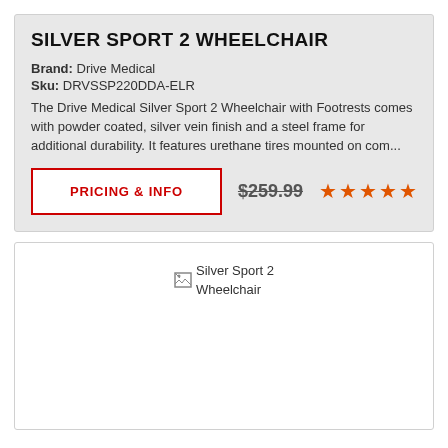SILVER SPORT 2 WHEELCHAIR
Brand: Drive Medical
Sku: DRVSSP220DDA-ELR
The Drive Medical Silver Sport 2 Wheelchair with Footrests comes with powder coated, silver vein finish and a steel frame for additional durability. It features urethane tires mounted on com...
PRICING & INFO
$259.99
[Figure (other): Five orange/red star rating icons]
[Figure (photo): Silver Sport 2 Wheelchair product image (broken/unloaded)]